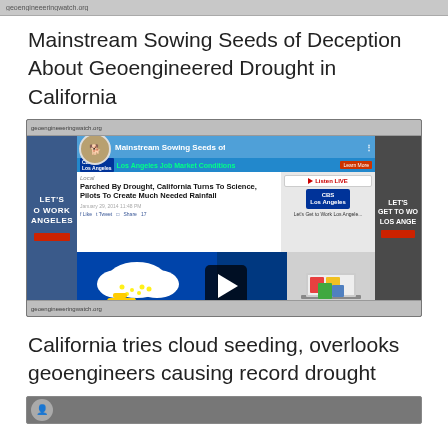browser address bar / chrome
Mainstream Sowing Seeds of Deception About Geoengineered Drought in California
[Figure (screenshot): Screenshot of a web browser showing a CBS Los Angeles webpage with the headline 'Parched By Drought, California Turns To Science, Pilots To Create Much Needed Rainfall' and an embedded video player with a cloud-seeding illustration showing a yellow airplane and clouds on a blue background. The browser has sidebars showing 'LET'S GET TO WORK LOS ANGELES' job market ads.]
California tries cloud seeding, overlooks geoengineers causing record drought
[Figure (screenshot): Partial screenshot strip at the bottom showing another article page with a circular avatar/profile image.]